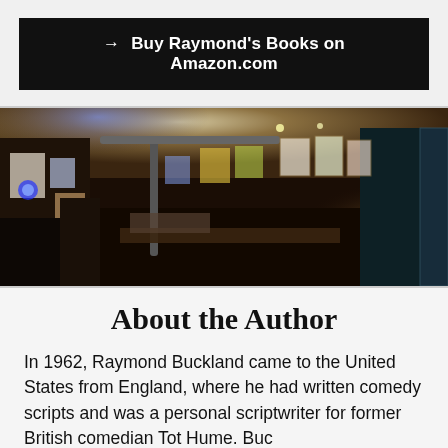→ Buy Raymond's Books on Amazon.com
[Figure (photo): Interior of an eclectic shop or gallery space with colorful artwork, posters, and decorative items covering the walls, illuminated by blue and warm lighting.]
About the Author
In 1962, Raymond Buckland came to the United States from England, where he had written comedy scripts and was a personal scriptwriter for former British comedian Tot Hume. Bucks...